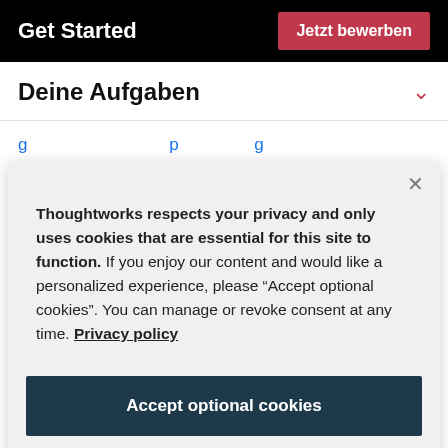Get Started
Jetzt bewerben
Deine Aufgaben
understand the potential that data brings to
Thoughtworks respects your privacy and only uses cookies that are essential for this site to function. If you enjoy our content and would like a personalized experience, please "Accept optional cookies". You can manage or revoke consent at any time. Privacy policy
Accept optional cookies
Manage preferences